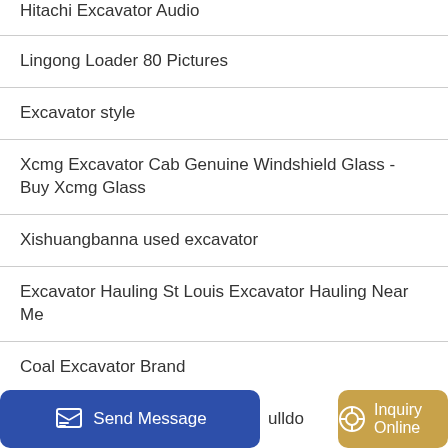Hitachi Excavator Audio
Lingong Loader 80 Pictures
Excavator style
Xcmg Excavator Cab Genuine Windshield Glass - Buy Xcmg Glass
Xishuangbanna used excavator
Excavator Hauling St Louis Excavator Hauling Near Me
Coal Excavator Brand
Baumann side loaders
...ulldo
Send Message
Inquiry Online